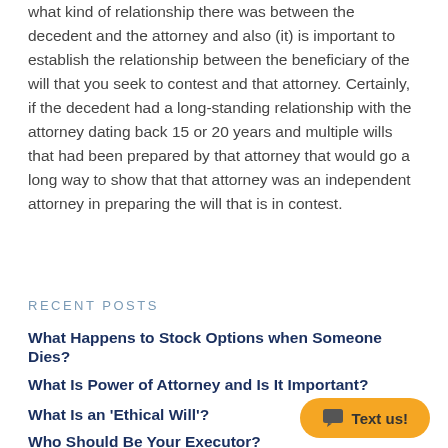what kind of relationship there was between the decedent and the attorney and also (it) is important to establish the relationship between the beneficiary of the will that you seek to contest and that attorney. Certainly, if the decedent had a long-standing relationship with the attorney dating back 15 or 20 years and multiple wills that had been prepared by that attorney that would go a long way to show that that attorney was an independent attorney in preparing the will that is in contest.
RECENT POSTS
What Happens to Stock Options when Someone Dies?
What Is Power of Attorney and Is It Important?
What Is an 'Ethical Will'?
Who Should Be Your Executor?